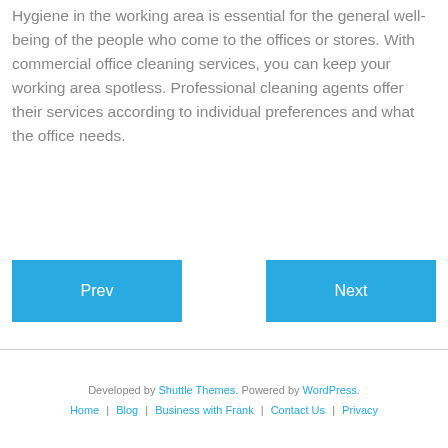Hygiene in the working area is essential for the general well-being of the people who come to the offices or stores. With commercial office cleaning services, you can keep your working area spotless. Professional cleaning agents offer their services according to individual preferences and what the office needs.
[Figure (other): Two navigation buttons side by side: a blue 'Prev' button on the left and a blue 'Next' button on the right]
Developed by Shuttle Themes. Powered by WordPress. Home | Blog | Business with Frank | Contact Us | Privacy